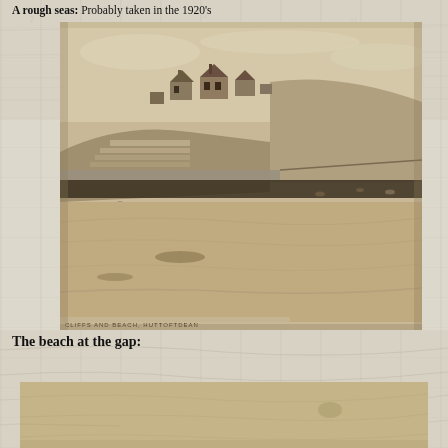A rough seas: Probably taken in the 1920's
[Figure (photo): Sepia photograph of cliffs and beach, Huttoft Dean area. Shows tiered sea walls/groynes, beach with people, buildings on clifftop, and calm sandy beach in foreground. Label at bottom reads 'CLIFFS AND BEACH, HUTTOFT DEAN']
The beach at the gap:
[Figure (photo): Sepia/faded photograph showing a sandy beach area, partial view, mostly blank sandy expanse with faint marks.]